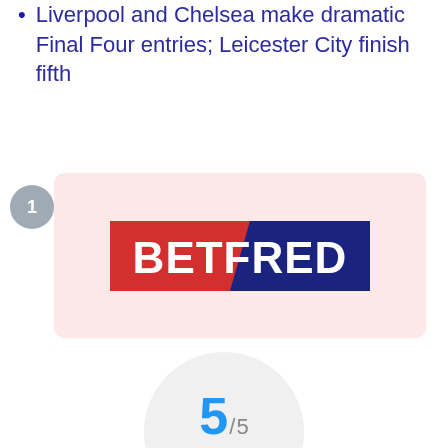Liverpool and Chelsea make dramatic Final Four entries; Leicester City finish fifth
[Figure (logo): Betfred logo inside a pink rounded card with a number 1 badge]
5 / 5
[Figure (infographic): Rating circle showing 5/5 with 5 red stars]